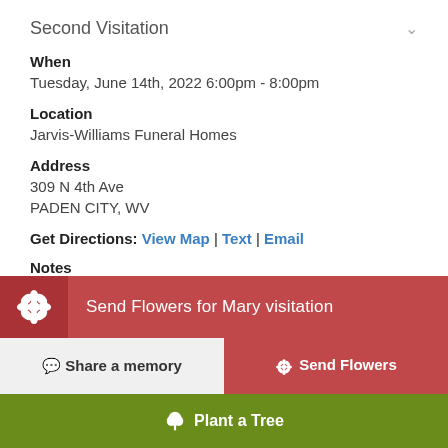Second Visitation
When
Tuesday, June 14th, 2022 6:00pm - 8:00pm
Location
Jarvis-Williams Funeral Homes
Address
309 N 4th Ave
PADEN CITY, WV
Get Directions: View Map | Text | Email
Notes
Memorial contributions may be made to Paden City Band Patrons, PO Box 219, Paden City, WV 26159.
Send Flowers for Mary visitation
Share a memory
Send Flowers
Plant a Tree